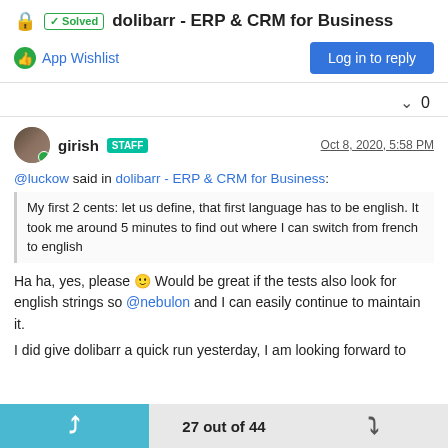✓ Solved   dolibarr - ERP & CRM for Business
App Wishlist   Log in to reply
^ 0
girish STAFF   Oct 8, 2020, 5:58 PM
@luckow said in dolibarr - ERP & CRM for Business:
My first 2 cents: let us define, that first language has to be english. It took me around 5 minutes to find out where I can switch from french to english
Ha ha, yes, please 🙂 Would be great if the tests also look for english strings so @nebulon and I can easily continue to maintain it.
I did give dolibarr a quick run yesterday, I am looking forward to
27 out of 44